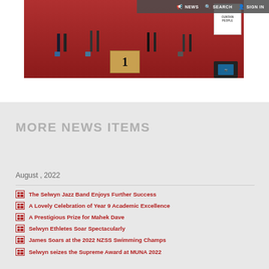NEWS   SEARCH   SIGN IN
[Figure (photo): Photo of students on a podium at a sporting event, with the number 1 podium block visible and a person photographing them]
MORE NEWS ITEMS
August , 2022
The Selwyn Jazz Band Enjoys Further Success
A Lovely Celebration of Year 9 Academic Excellence
A Prestigious Prize for Mahek Dave
Selwyn Ethletes Soar Spectacularly
James Soars at the 2022 NZSS Swimming Champs
Selwyn seizes the Supreme Award at MUNA 2022